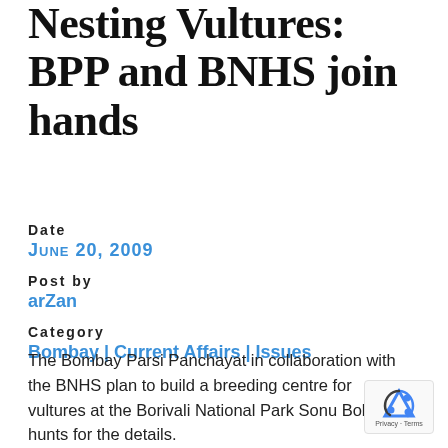Nesting Vultures: BPP and BNHS join hands
Date
June 20, 2009
Post by
arZan
Category
Bombay | Current Affairs | Issues
The Bombay Parsi Panchayat in collaboration with the BNHS plan to build a breeding centre for vultures at the Borivali National Park Sonu Bohra hunts for the details.